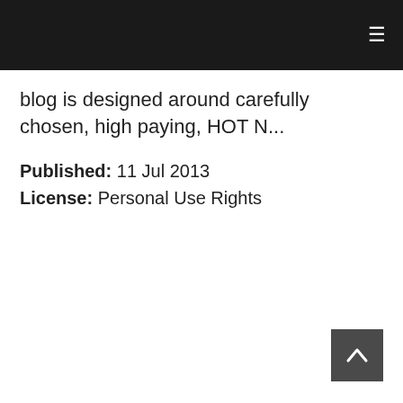≡
blog is designed around carefully chosen, high paying, HOT N...
Published: 11 Jul 2013
License: Personal Use Rights